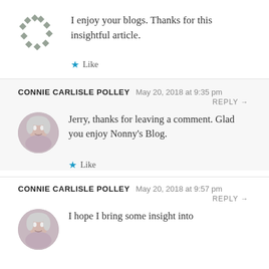I enjoy your blogs. Thanks for this insightful article.
Like
CONNIE CARLISLE POLLEY  May 20, 2018 at 9:35 pm  REPLY →
Jerry, thanks for leaving a comment. Glad you enjoy Nonny's Blog.
Like
CONNIE CARLISLE POLLEY  May 20, 2018 at 9:57 pm  REPLY →
I hope I bring some insight into